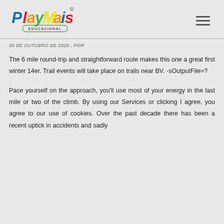PlayMais Educacional
20 DE OUTUBRO DE 2020 , POR
The 6 mile round-trip and straightforward route makes this one a great first winter 14er. Trail events will take place on trails near BV. -sOutputFile=?
Pace yourself on the approach, you'll use most of your energy in the last mile or two of the climb. By using our Services or clicking I agree, you agree to our use of cookies. Over the past decade there has been a recent uptick in accidents and sadly